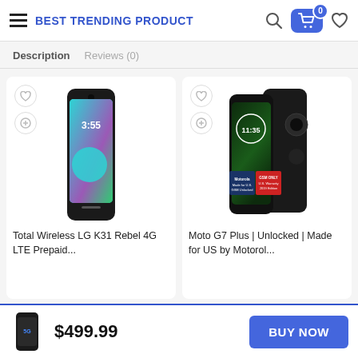BEST TRENDING PRODUCT
Description   Reviews (0)
[Figure (screenshot): Product card showing LG K31 Rebel 4G LTE Prepaid smartphone]
Total Wireless LG K31 Rebel 4G LTE Prepaid...
[Figure (screenshot): Product card showing Moto G7 Plus Unlocked smartphone]
Moto G7 Plus | Unlocked | Made for US by Motorol...
$499.99   BUY NOW